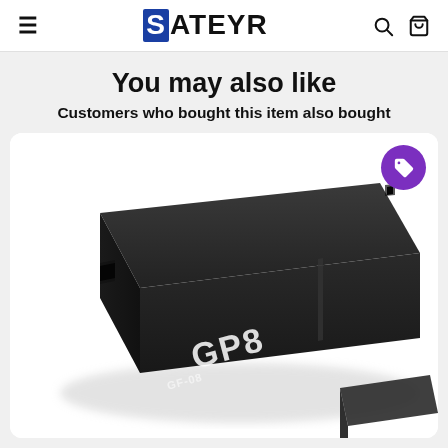SATEYR - navigation header with hamburger menu, logo, search and cart icons
You may also like
Customers who bought this item also bought
[Figure (photo): Close-up photo of a small black GPS tracking device labeled 'GP8', shown at an angle on a white background. A purple circular tag/price badge icon is visible in the top-right corner of the product card.]